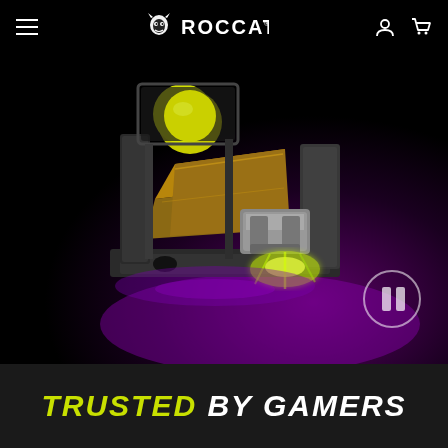ROCCAT navigation header with hamburger menu, ROCCAT logo, user icon, and cart icon
[Figure (screenshot): 3D rendered mechanical keyboard switch cross-section animation showing gold/silver metallic switch mechanism with yellow-green glowing light emanating from the bottom contact points, on a dark charcoal base plate, with purple glow on the floor surface. A pause button (circle with two vertical bars) is visible in the lower right of the video area.]
TRUSTED BY GAMERS